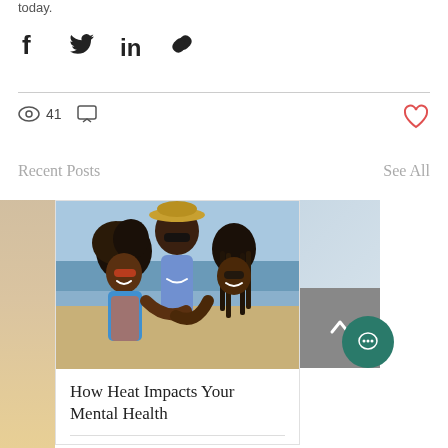today.
[Figure (infographic): Social share icons: Facebook, Twitter, LinkedIn, link/chain]
[Figure (infographic): Stats bar: eye icon with count 41, comment icon, heart icon (red)]
Recent Posts
See All
[Figure (photo): Photo of three smiling people at a beach, hugging]
How Heat Impacts Your Mental Health